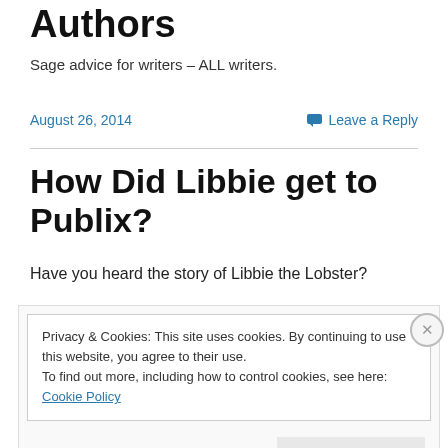Authors
Sage advice for writers – ALL writers.
August 26, 2014
Leave a Reply
How Did Libbie get to Publix?
Have you heard the story of Libbie the Lobster?
Privacy & Cookies: This site uses cookies. By continuing to use this website, you agree to their use.
To find out more, including how to control cookies, see here: Cookie Policy
Close and accept